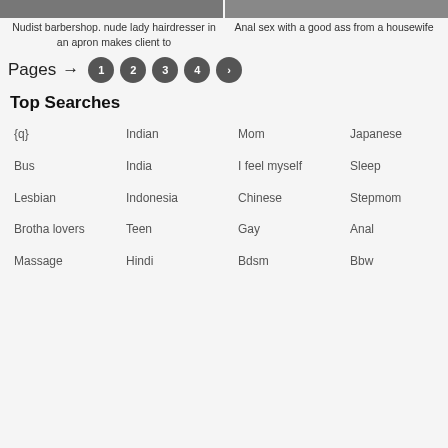[Figure (photo): Two thumbnail images at top of page, partially visible, dark/cropped content]
Nudist barbershop. nude lady hairdresser in an apron makes client to
Anal sex with a good ass from a housewife
Pages → 1 2 3 4 ›
Top Searches
{q}
Indian
Mom
Japanese
Bus
India
I feel myself
Sleep
Lesbian
Indonesia
Chinese
Stepmom
Brotha lovers
Teen
Gay
Anal
Massage
Hindi
Bdsm
Bbw